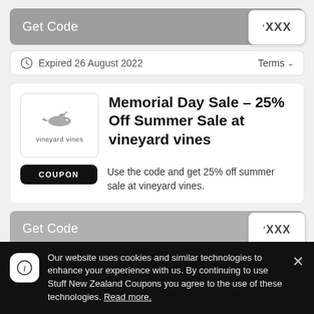[Figure (other): Get Code button bar with 'XXXX' code reveal on right]
Expired 26 August 2022
Terms
Memorial Day Sale – 25% Off Summer Sale at vineyard vines
[Figure (logo): Vineyard Vines whale logo]
COUPON
Use the code and get 25% off summer sale at vineyard vines.
[Figure (other): Second Get Code button bar with 'XXXX' code reveal]
Our website uses cookies and similar technologies to enhance your experience with us. By continuing to use Stuff New Zealand Coupons you agree to the use of these technologies. Read more.